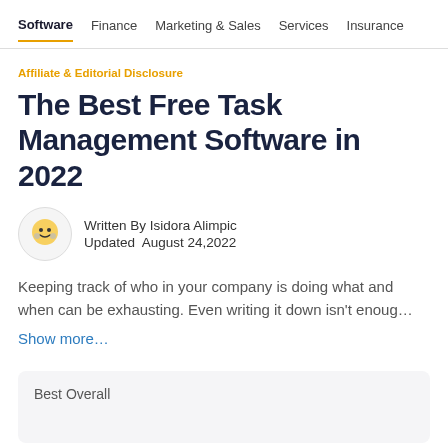Software  Finance  Marketing & Sales  Services  Insurance  O
Affiliate & Editorial Disclosure
The Best Free Task Management Software in 2022
Written By Isidora Alimpic
Updated  August 24,2022
Keeping track of who in your company is doing what and when can be exhausting. Even writing it down isn't enoug…
Show more…
Best Overall